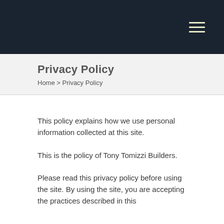≡
Privacy Policy
Home > Privacy Policy
This policy explains how we use personal information collected at this site.
This is the policy of Tony Tomizzi Builders.
Please read this privacy policy before using the site. By using the site, you are accepting the practices described in this